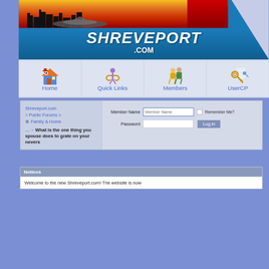[Figure (screenshot): Shreveport.com website header with city skyline silhouette, sunset background, and large SHREVEPORT .COM text in white italic bold]
[Figure (screenshot): Navigation bar with four items: Home (house icon), Quick Links (chain links icon), Members (people icon), UserCP (key/lock icon)]
[Figure (screenshot): Login form with breadcrumb navigation and thread title 'What is the one thing you spouse does to grate on your nevers', Member Name and Password fields, Remember Me checkbox, Log in button]
Notices
Welcome to the new Shreveport.com! The website is now